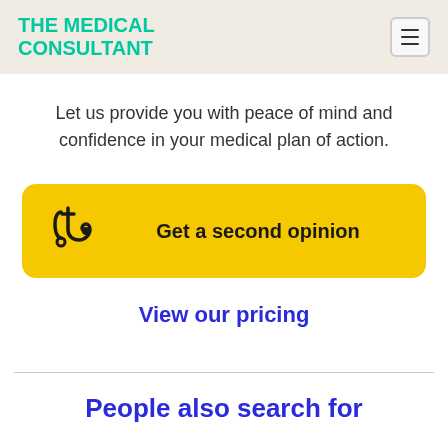THE MEDICAL CONSULTANT
Let us provide you with peace of mind and confidence in your medical plan of action.
[Figure (other): Yellow rounded button with stethoscope icon and text 'Get a second opinion']
View our pricing
People also search for